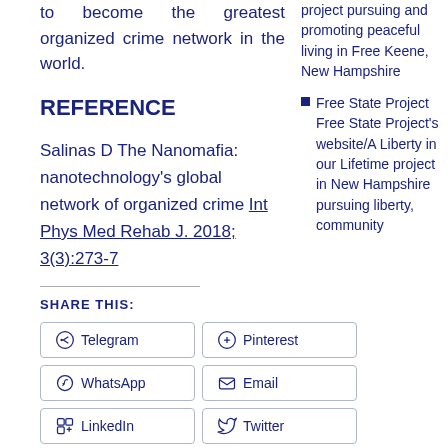to become the greatest organized crime network in the world.
REFERENCE
Salinas D The Nanomafia: nanotechnology's global network of organized crime Int Phys Med Rehab J. 2018; 3(3):273-7
SHARE THIS:
Telegram
Pinterest
WhatsApp
Email
LinkedIn
Twitter
project pursuing and promoting peaceful living in Free Keene, New Hampshire
Free State Project Free State Project's website/A Liberty in our Lifetime project in New Hampshire pursuing liberty, community